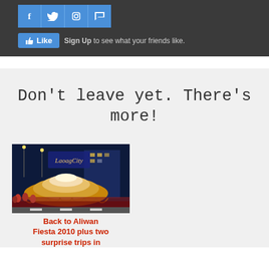[Figure (screenshot): Dark grey bar with blue social media icon buttons (Facebook, Twitter, Instagram, RSS) and a Facebook Like button with 'Sign Up to see what your friends like.' text]
Sign Up to see what your friends like.
Don't leave yet. There's more!
[Figure (photo): Nighttime festival parade float photo labeled 'Laoag City' with elaborate golden decorations and crowds]
Back to Aliwan Fiesta 2010 plus two surprise trips in